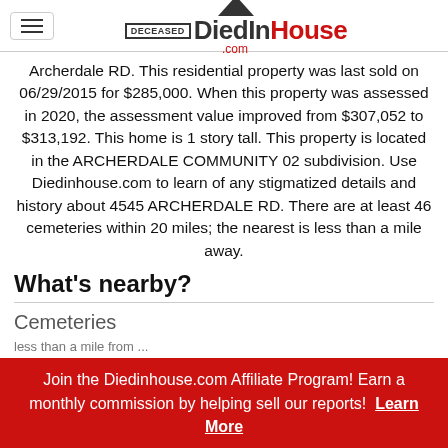DiedInHouse.com
Archerdale RD. This residential property was last sold on 06/29/2015 for $285,000. When this property was assessed in 2020, the assessment value improved from $307,052 to $313,192. This home is 1 story tall. This property is located in the ARCHERDALE COMMUNITY 02 subdivision. Use Diedinhouse.com to learn of any stigmatized details and history about 4545 ARCHERDALE RD. There are at least 46 cemeteries within 20 miles; the nearest is less than a mile away.
What's nearby?
Cemeteries
less than a mile from ... 8 miles from Highland View Memorial Gardens
Join the Diedinhouse.com Affiliate Program! Earn a monthly commission by helping sell our reports! Learn More